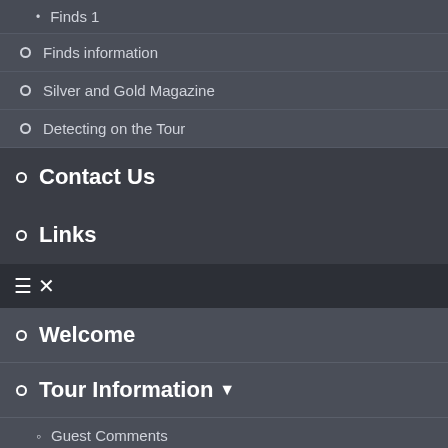Finds 1
Finds information
Silver and Gold Magazine
Detecting on the Tour
Contact Us
Links
≡ ✕
Welcome
Tour Information ▾
Guest Comments
Tour Dates and Prices
Accommodation
Meet Your Tour Guides
What to Expect